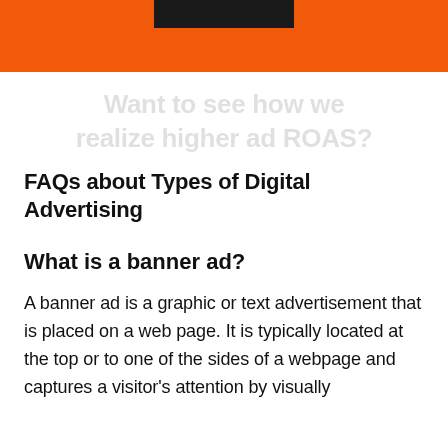[Figure (other): Orange banner with a dark rectangle at the top, partially visible at the top of the page]
Want to see how we realize higher ad ROAS?
FAQs about Types of Digital Advertising
What is a banner ad?
A banner ad is a graphic or text advertisement that is placed on a web page. It is typically located at the top or to one of the sides of a webpage and captures a visitor's attention by visually